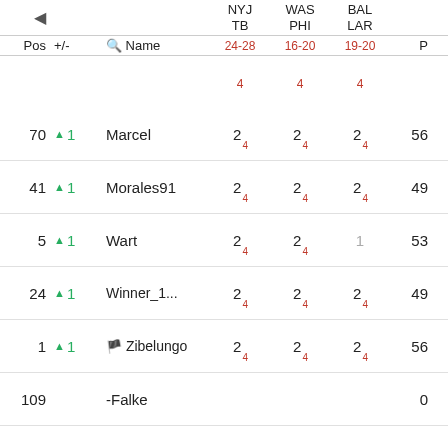| Pos | +/- | Name | NYJ TB 24-28 | WAS PHI 16-20 | BAL LAR 19-20 | P | T |
| --- | --- | --- | --- | --- | --- | --- | --- |
| 70 | ▲1 | Marcel | 2₄ | 2₄ | 2₄ | 56 | 568 |
| 41 | ▲1 | Morales91 | 2₄ | 2₄ | 2₄ | 49 | 687 |
| 5 | ▲1 | Wart | 2₄ | 2₄ | 1 | 53 | 751 |
| 24 | ▲1 | Winner_1... | 2₄ | 2₄ | 2₄ | 49 | 707 |
| 1 | ▲1 | 🏴 Zibelungo | 2₄ | 2₄ | 2₄ | 56 | 792 |
| 109 |  | -Falke |  |  |  | 0 | 0 |
| 109 |  | 49EER |  |  |  | 0 | 0 |